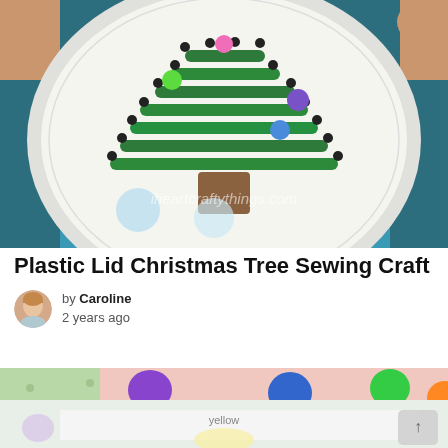[Figure (photo): Child holding a white paper plate decorated as a Christmas tree made with green pipe cleaners threaded through holes, with colorful pom-poms as ornaments and a brown square as the trunk. Watermark reads iheartcraftythings.com]
Plastic Lid Christmas Tree Sewing Craft
by Caroline
2 years ago
[Figure (photo): Close-up of colorful pom-poms (purple, blue, green, orange) on a pink and light green background with a white strip of paper]
[Figure (photo): Bottom portion showing light colored crafting materials on white surface with text label 'yellow']